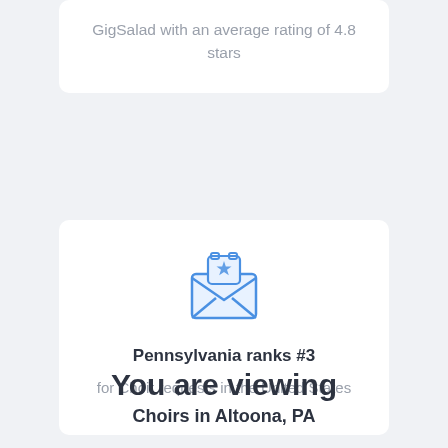GigSalad with an average rating of 4.8 stars
[Figure (illustration): Blue outlined envelope icon with an open flap and a star badge on top, representing a featured or starred message/request]
Pennsylvania ranks #3
for Choir requests in the United States
You are viewing
Choirs in Altoona, PA